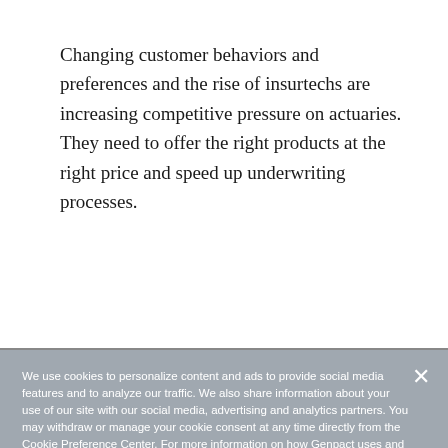Changing customer behaviors and preferences and the rise of insurtechs are increasing competitive pressure on actuaries. They need to offer the right products at the right price and speed up underwriting processes.
We use cookies to personalize content and ads to provide social media features and to analyze our traffic. We also share information about your use of our site with our social media, advertising and analytics partners. You may withdraw or manage your cookie consent at any time directly from the Cookie Preference Center. For more information on how Genpact uses and shares information about your use of our website, please see our Cookie Policy. Click to View Our Cookie Policy.